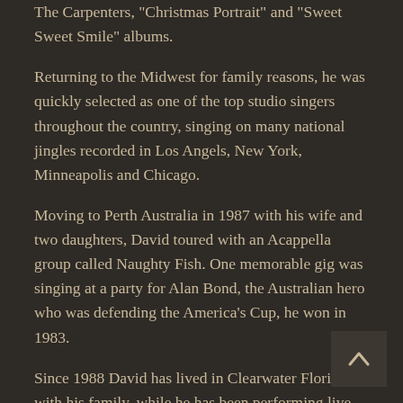The Carpenters, "Christmas Portrait" and "Sweet Sweet Smile" albums.
Returning to the Midwest for family reasons, he was quickly selected as one of the top studio singers throughout the country, singing on many national jingles recorded in Los Angels, New York, Minneapolis and Chicago.
Moving to Perth Australia in 1987 with his wife and two daughters, David toured with an Acappella group called Naughty Fish. One memorable gig was singing at a party for Alan Bond, the Australian hero who was defending the America's Cup, he won in 1983.
Since 1988 David has lived in Clearwater Florida with his family, while he has been performing live and recording his original music.